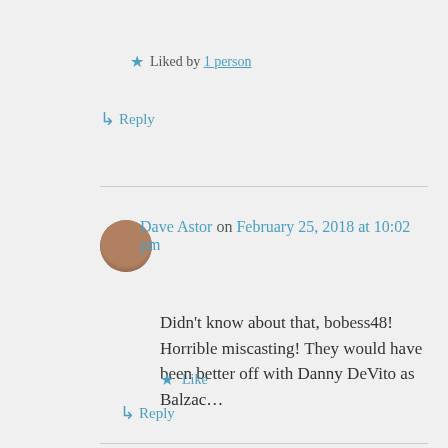★ Liked by 1 person
↳ Reply
Dave Astor on February 25, 2018 at 10:02 pm
Didn't know about that, bobess48! Horrible miscasting! They would have been better off with Danny DeVito as Balzac…
★ Like
↳ Reply